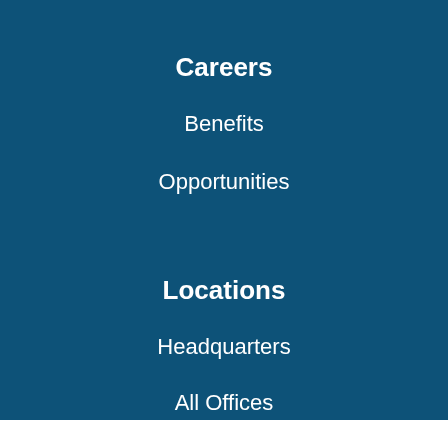Careers
Benefits
Opportunities
Locations
Headquarters
All Offices
Stay informed about AIR's work. Subscribe to our newsletter.